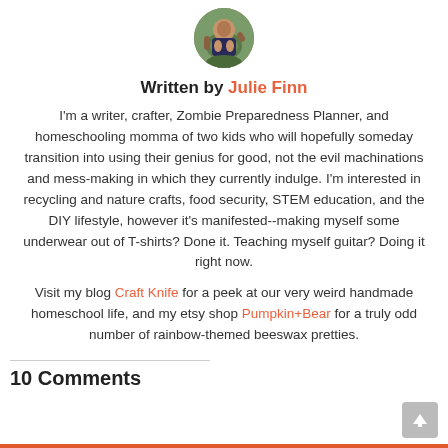[Figure (photo): Circular avatar photo of Julie Finn, a woman crouching outdoors among leaves]
Written by Julie Finn
I'm a writer, crafter, Zombie Preparedness Planner, and homeschooling momma of two kids who will hopefully someday transition into using their genius for good, not the evil machinations and mess-making in which they currently indulge. I'm interested in recycling and nature crafts, food security, STEM education, and the DIY lifestyle, however it's manifested--making myself some underwear out of T-shirts? Done it. Teaching myself guitar? Doing it right now.
Visit my blog Craft Knife for a peek at our very weird handmade homeschool life, and my etsy shop Pumpkin+Bear for a truly odd number of rainbow-themed beeswax pretties.
10 Comments